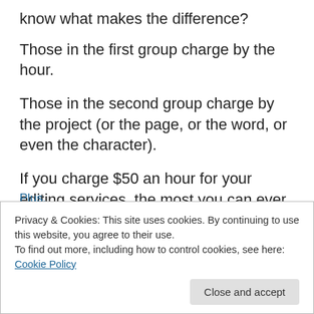know what makes the difference?
Those in the first group charge by the hour.
Those in the second group charge by the project (or the page, or the word, or even the character).
If you charge $50 an hour for your editing services, the most you can ever make is $50 an hour. But if you charge $5 a page, your hourly income depends on how many pages you can edit during that hour. If you can edit 10 pages, you’ll still make $50 an hour. But if you can edit 20
Privacy & Cookies: This site uses cookies. By continuing to use this website, you agree to their use.
To find out more, including how to control cookies, see here: Cookie Policy
Close and accept
Plus.